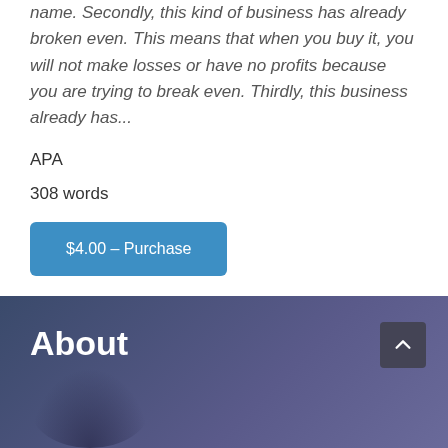name. Secondly, this kind of business has already broken even. This means that when you buy it, you will not make losses or have no profits because you are trying to break even. Thirdly, this business already has...
APA
308 words
$4.00 – Purchase
About